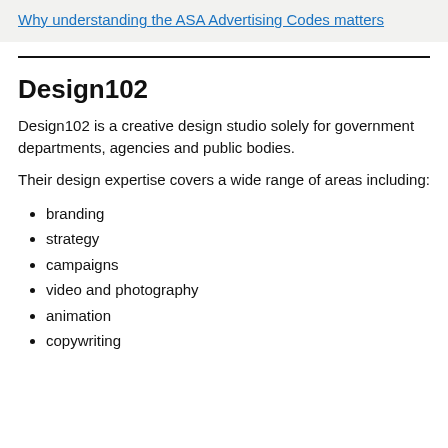Why understanding the ASA Advertising Codes matters
Design102
Design102 is a creative design studio solely for government departments, agencies and public bodies.
Their design expertise covers a wide range of areas including:
branding
strategy
campaigns
video and photography
animation
copywriting